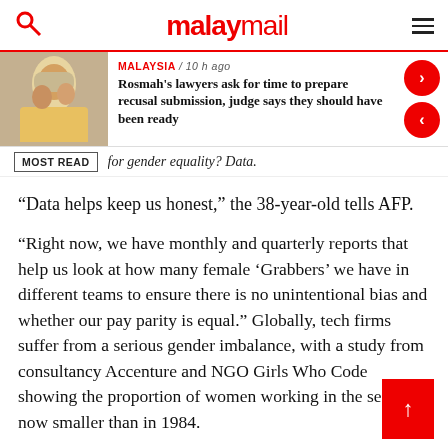malaymail
[Figure (photo): Thumbnail photo of a woman in yellow traditional dress, likely Rosmah Mansor]
MALAYSIA / 10 h ago
Rosmah's lawyers ask for time to prepare recusal submission, judge says they should have been ready
for gender equality? Data.
MOST READ
“Data helps keep us honest,” the 38-year-old tells AFP.
“Right now, we have monthly and quarterly reports that help us look at how many female ‘Grabbers’ we have in different teams to ensure there is no unintentional bias and whether our pay parity is equal.” Globally, tech firms suffer from a serious gender imbalance, with a study from consultancy Accenture and NGO Girls Who Code showing the proportion of women working in the sector is now smaller than in 1984.